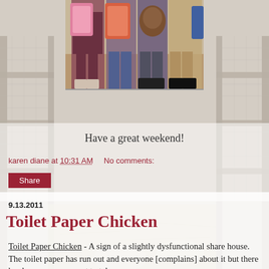[Figure (photo): Children with backpacks and stuffed animals standing indoors, photo partially cropped showing lower halves]
[Figure (photo): Background image of chickens in a chicken coop with wooden frames and straw]
Have a great weekend!
karen diane at 10:31 AM     No comments:
Share
9.13.2011
Toilet Paper Chicken
Toilet Paper Chicken - A sign of a slightly dysfunctional share house. The toilet paper has run out and everyone [complains] about it but there has been no agreement to take